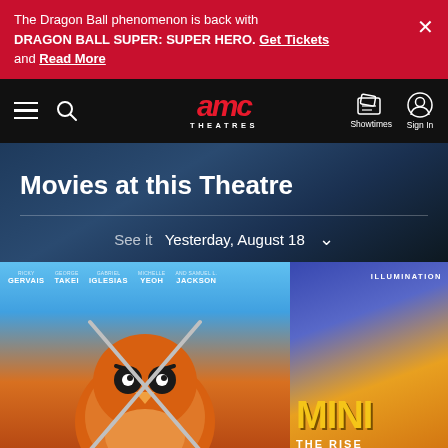The Dragon Ball phenomenon is back with DRAGON BALL SUPER: SUPER HERO. Get Tickets and Read More
[Figure (screenshot): AMC Theatres website navigation bar with hamburger menu, search icon, AMC Theatres logo, Showtimes icon, and Sign In icon on black background]
Movies at this Theatre
See it Yesterday, August 18
[Figure (illustration): Animated movie poster for an animated film featuring cast names: Ricky Gervais, George Takei, Gabriel Iglesias, Michelle Yeoh, Samuel L. Jackson; showing an animated orange bird/cat character with swords on blue sky background]
[Figure (illustration): Minions: The Rise of Gru movie poster partial view showing Illumination logo and yellow Minions text on orange/purple flame background]